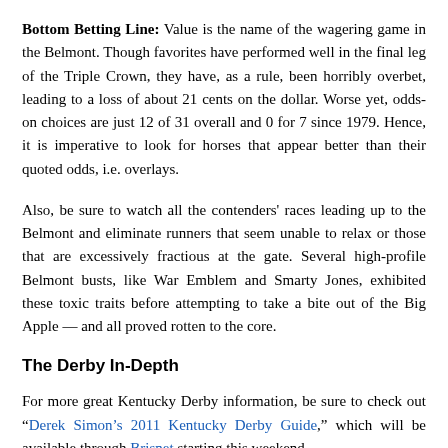Bottom Betting Line: Value is the name of the wagering game in the Belmont. Though favorites have performed well in the final leg of the Triple Crown, they have, as a rule, been horribly overbet, leading to a loss of about 21 cents on the dollar. Worse yet, odds-on choices are just 12 of 31 overall and 0 for 7 since 1979. Hence, it is imperative to look for horses that appear better than their quoted odds, i.e. overlays.
Also, be sure to watch all the contenders' races leading up to the Belmont and eliminate runners that seem unable to relax or those that are excessively fractious at the gate. Several high-profile Belmont busts, like War Emblem and Smarty Jones, exhibited these toxic traits before attempting to take a bite out of the Big Apple — and all proved rotten to the core.
The Derby In-Depth
For more great Kentucky Derby information, be sure to check out "Derek Simon's 2011 Kentucky Derby Guide," which will be available through Brisnet starting this weekend. For just $10, you'll receive...